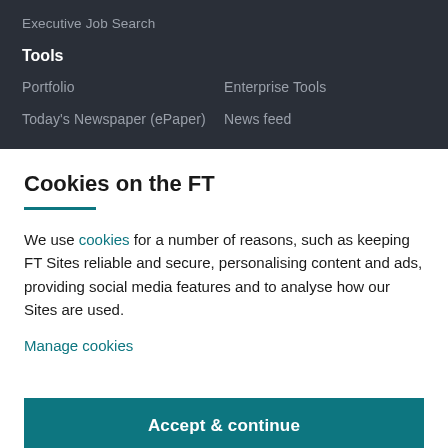Executive Job Search
Tools
Portfolio
Enterprise Tools
Today's Newspaper (ePaper)
News feed
Cookies on the FT
We use cookies for a number of reasons, such as keeping FT Sites reliable and secure, personalising content and ads, providing social media features and to analyse how our Sites are used.
Manage cookies
Accept & continue